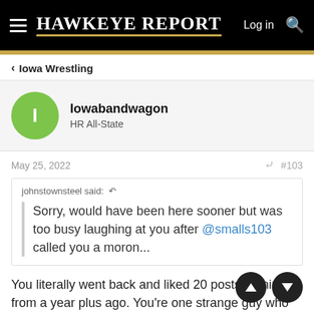HAWKEYE REPORT — Log in
Iowa Wrestling
Iowabandwagon
HR All-State
May 25, 2022  #103
johnstownsteel said:  ↺

Sorry, would have been here sooner but was too busy laughing at you after @smalls103 called you a moron...
You literally went back and liked 20 posts of mine from a year plus ago. You're one strange guy who claims he's busy with other things in life. I guess this is the off-season for fluff though. And I must have missed where Willie called...